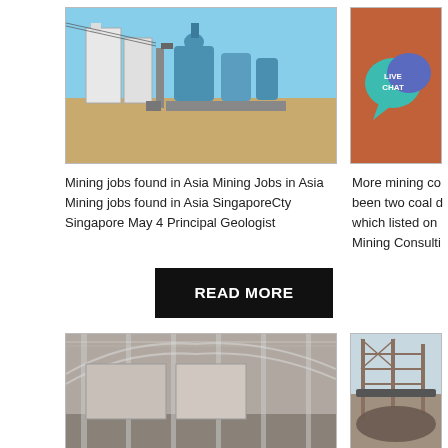[Figure (photo): Industrial mining plant with silos and processing equipment against a blue sky and sandy terrain]
[Figure (photo): Live Chat button graphic on a reddish-brown background with speech bubble icons]
Mining jobs found in Asia Mining Jobs in Asia Mining jobs found in Asia SingaporeCty Singapore May 4 Principal Geologist
More mining co been two coal d which listed on Mining Consulti
[Figure (other): READ MORE button - black rectangle with white text]
[Figure (photo): Interior of a large industrial warehouse or mining facility with metal structures]
[Figure (photo): Outdoor mining conveyor belt or material handling equipment]